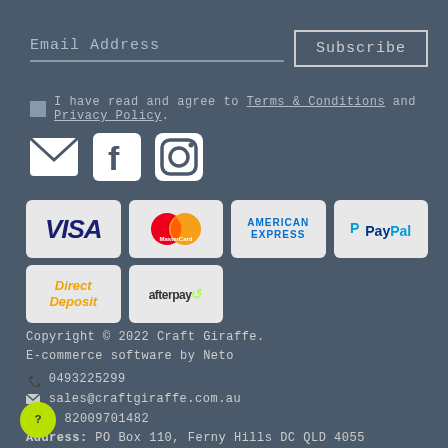Email Address
Subscribe
I have read and agree to Terms & Conditions and Privacy Policy.
[Figure (infographic): Social media icons: email/envelope, Facebook, Instagram]
[Figure (infographic): Payment method logos: Visa, MasterCard, American Express, PayPal, Direct Deposit, Afterpay]
Copyright © 2022 Craft Giraffe.
E-commerce software by Neto
0493225299
sales@craftgiraffe.com.au
ABN: 82009701482
Address: PO Box 110, Ferny Hills DC QLD 4055 Australia